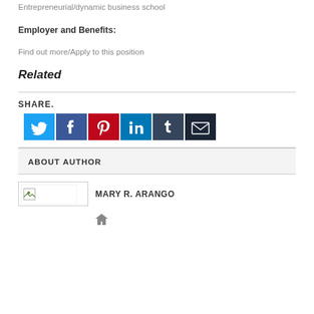Entrepreneurial/dynamic business school
Employer and Benefits:
Find out more/Apply to this position
Related
SHARE.
[Figure (infographic): Social sharing buttons: Twitter (blue bird icon), Facebook (dark blue F icon), Pinterest (red P icon), LinkedIn (blue in icon), Tumblr (dark blue t icon), Email (dark envelope icon)]
ABOUT AUTHOR
[Figure (photo): Author photo placeholder image (broken image icon with green leaf)]
MARY R. ARANGO
[Figure (infographic): Home icon (house silhouette in grey)]